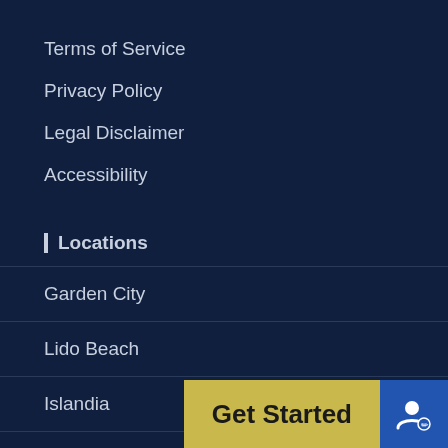Terms of Service
Privacy Policy
Legal Disclaimer
Accessibility
Locations
Garden City
Lido Beach
Islandia
Manhattan
Get Started